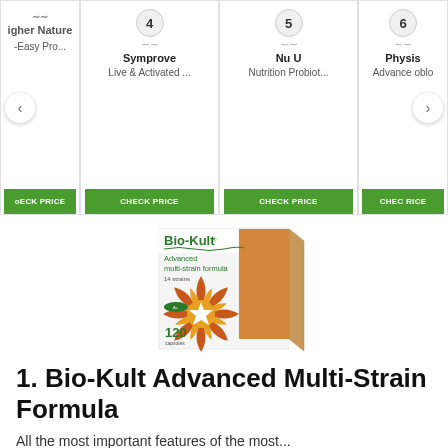[Figure (screenshot): Carousel of probiotic products: Higher Nature Easy Pro..., 4 Symprove Live & Activated..., 5 Nu U Nutrition Probiot..., 6 Physis Advance...blo... Each with CHECK PRICE green button. Left and right navigation arrows visible.]
[Figure (photo): Bio-Kult Advanced multi-strain formula 120 capsules product box with orange starburst design]
1. Bio-Kult Advanced Multi-Strain Formula
All the most important features of the most...